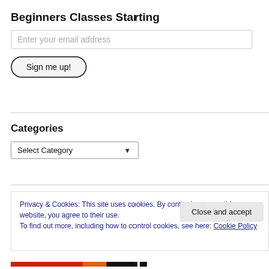Beginners Classes Starting
Enter your email address
Sign me up!
Categories
Select Category
Privacy & Cookies: This site uses cookies. By continuing to use this website, you agree to their use.
To find out more, including how to control cookies, see here: Cookie Policy
Close and accept